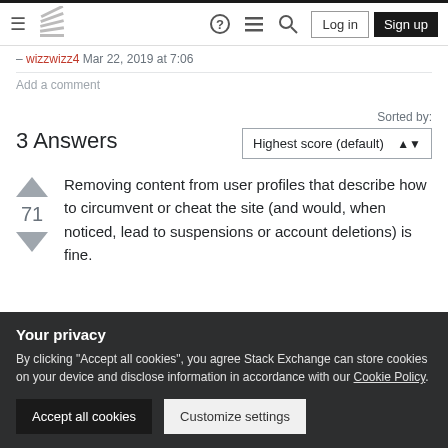Stack Exchange navigation bar with hamburger menu, logo, icons, Log in and Sign up buttons
– wizzwizz4 Mar 22, 2019 at 7:06
Add a comment
3 Answers
Sorted by: Highest score (default)
Removing content from user profiles that describe how to circumvent or cheat the site (and would, when noticed, lead to suspensions or account deletions) is fine.
Your privacy
By clicking "Accept all cookies", you agree Stack Exchange can store cookies on your device and disclose information in accordance with our Cookie Policy.
Accept all cookies  Customize settings